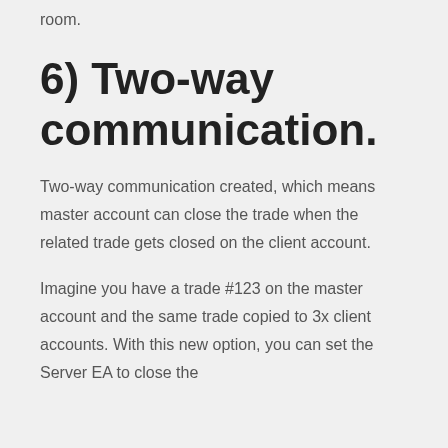room.
6) Two-way communication.
Two-way communication created, which means master account can close the trade when the related trade gets closed on the client account.
Imagine you have a trade #123 on the master account and the same trade copied to 3x client accounts. With this new option, you can set the Server EA to close the